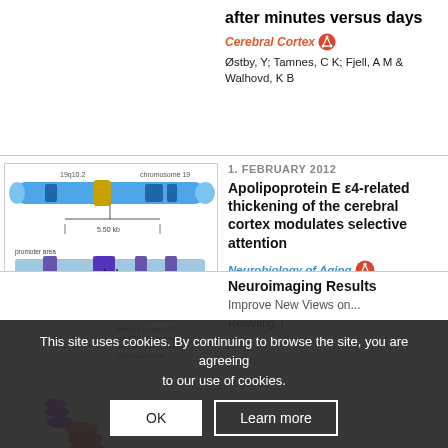after minutes versus days
Cerebral Cortex
Østby, Y; Tamnes, C K; Fjell, A M & Walhovd, K B
[Figure (illustration): Schematic illustration of chromosome 19 and 3D-rendering of the apolipoprotein E4 isoform. The figure shows chromosome 19 at position 19q13.2 with the APOE gene, including promoter regions. Purple areas represent exons and lines in between represent introns. Arrows indicate positions of 2 most well-known single-nucleotide polymorphisms (SNPs). Bottom left: 3D-molecular analysis of the apolipoprotein E4 isoform.]
Fig. 1. Schematic illustration of chromosome 19 of the human genome. The golden area represents a 5.5 kilobase fraction of DNA at position 19q13.2 containing the APOE gene, including promoter regions. The purple areas represent exons and the lines in between represent introns. The approximate positions of the 2 most well-known single-nucleotide polymorphisms (SNPs) are indicated by arrows.
1. FEBRUARY 2012
Apolipoprotein E ε4-related thickening of the cerebral cortex modulates selective attention
Neurobiology of Aging
Espeseth, T; Westlye, L T; Walhovd, K B; Fjell, A M; Endestad, T; Rootwelt, H & Reinvang, I
This site uses cookies. By continuing to browse the site, you are agreeing to our use of cookies.
OK
Learn more
Neuroimaging Results